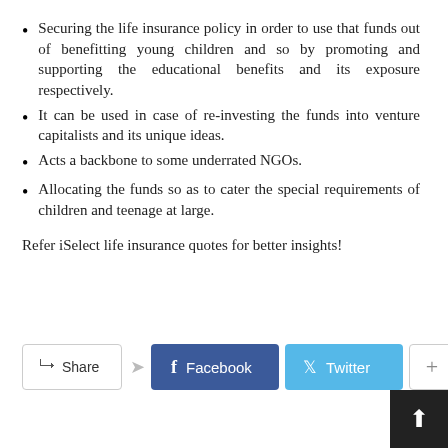Securing the life insurance policy in order to use that funds out of benefitting young children and so by promoting and supporting the educational benefits and its exposure respectively.
It can be used in case of re-investing the funds into venture capitalists and its unique ideas.
Acts a backbone to some underrated NGOs.
Allocating the funds so as to cater the special requirements of children and teenage at large.
Refer iSelect life insurance quotes for better insights!